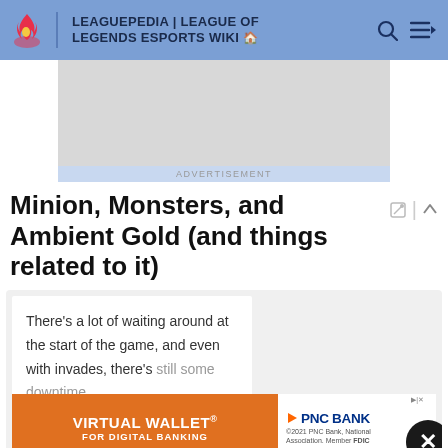LEAGUEPEDIA | LEAGUE OF LEGENDS ESPORTS WIKI
[Figure (other): Advertisement banner placeholder (gray box)]
Minion, Monsters, and Ambient Gold (and things related to it)
There's a lot of waiting around at the start of the game, and even with invades, there's still some downtime.
[Figure (other): PNC Bank Virtual Wallet advertisement banner]
see things like Bard Charms, Charm and